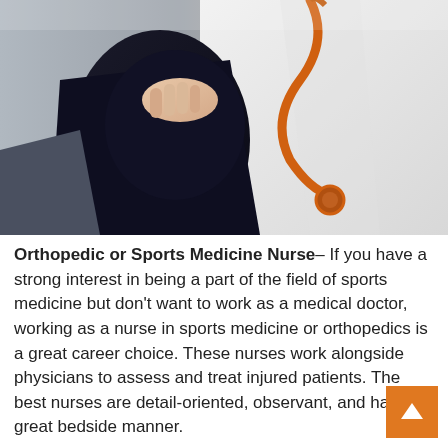[Figure (photo): A doctor in a white lab coat with an orange stethoscope examining or touching a patient's knee. The patient is wearing black pants. Warm light in the upper right corner.]
Orthopedic or Sports Medicine Nurse– If you have a strong interest in being a part of the field of sports medicine but don't want to work as a medical doctor, working as a nurse in sports medicine or orthopedics is a great career choice. These nurses work alongside physicians to assess and treat injured patients. The best nurses are detail-oriented, observant, and have a great bedside manner.